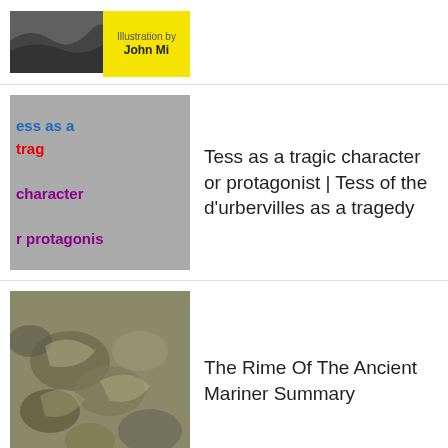[Figure (other): Book cover thumbnail for John Milton work, grey and yellow halves]
[Figure (other): Thumbnail with text: ess as a trag character r protagonis on grey background]
Tess as a tragic character or protagonist | Tess of the d'urbervilles as a tragedy
[Figure (photo): Black and white photo of shells or organic matter]
The Rime Of The Ancient Mariner Summary
[Figure (illustration): Engraving/illustration of a man, Matthew Arnold era portrait]
Matthew Arnold Poems as the Criticism of Life or Victorian Age
[Figure (other): Book cover thumbnail: te Love Song o Alfred Prufro By]
The Love Song of J. Alfred Prufrock represents conflict of a modern man